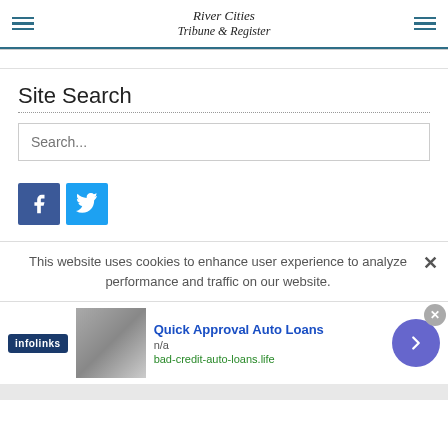River Cities Tribune & Register
Site Search
Search...
[Figure (logo): Facebook icon button (blue square with white f)]
[Figure (logo): Twitter icon button (light blue square with white bird)]
This website uses cookies to enhance user experience to analyze performance and traffic on our website.
Quick Approval Auto Loans
n/a
bad-credit-auto-loans.life